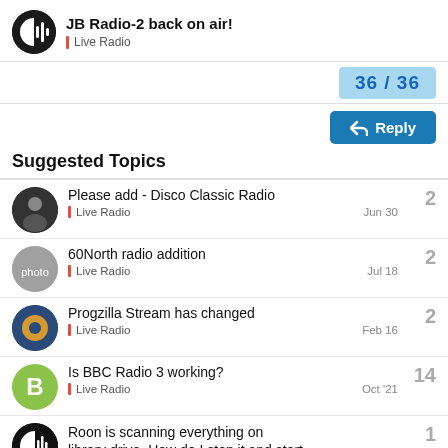JB Radio-2 back on air! | Live Radio
36 / 36
Reply
Suggested Topics
Please add - Disco Classic Radio | Live Radio | 2 | Jun 30
60North radio addition | Live Radio | 2 | Jul 18
Progzilla Stream has changed | Live Radio | 2 | Feb 16
Is BBC Radio 3 working? | Live Radio | 14 | Oct '21
Roon is scanning everything on library drive. How do I stop it and start